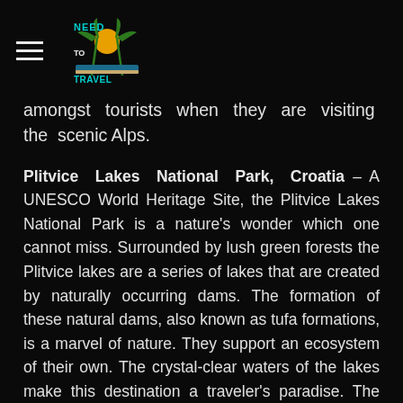NEED TO TRAVEL (logo with hamburger menu)
amongst tourists when they are visiting the scenic Alps.
Plitvice Lakes National Park, Croatia – A UNESCO World Heritage Site, the Plitvice Lakes National Park is a nature's wonder which one cannot miss. Surrounded by lush green forests the Plitvice lakes are a series of lakes that are created by naturally occurring dams. The formation of these natural dams, also known as tufa formations, is a marvel of nature. They support an ecosystem of their own. The crystal-clear waters of the lakes make this destination a traveler's paradise. The forests surrounding these lakes have wildlife consisting of brown bears, grey wolves, and lynxes.